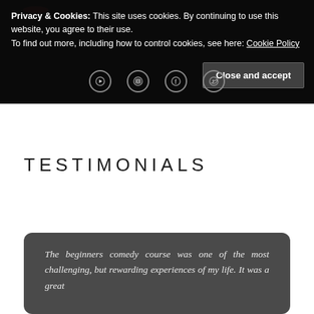Privacy & Cookies: This site uses cookies. By continuing to use this website, you agree to their use. To find out more, including how to control cookies, see here: Cookie Policy
TESTIMONIALS
The beginners comedy course was one of the most challenging, but rewarding experiences of my life. It was a great